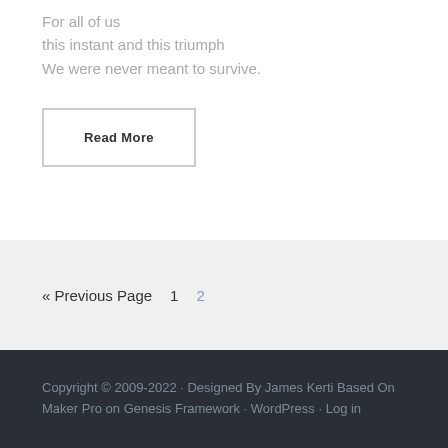For all of us
this instant and this triumph
We were never meant to survive.
Read More
« Previous Page   1   2
Copyright © 2009-2022 · Designed By James Kerti Based On Maker Pro on Genesis Framework · WordPress · Log in